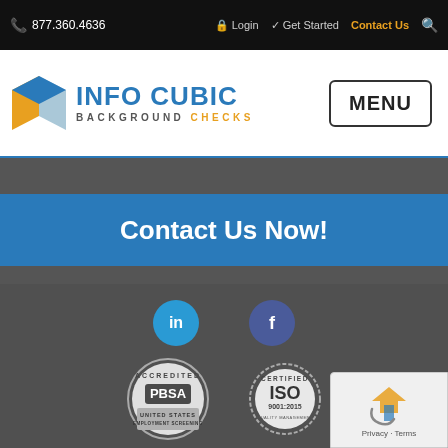877.360.4636 | Login | Get Started | Contact Us
[Figure (logo): Info Cubic Background Checks logo with blue cube icon]
MENU
Contact Us Now!
[Figure (illustration): LinkedIn and Facebook social media icons, PBSA Accredited and ISO 9001:2015 Certified badges, reCAPTCHA widget]